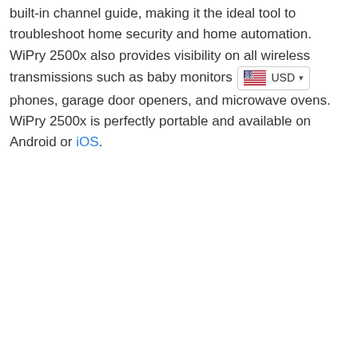built-in channel guide, making it the ideal tool to troubleshoot home security and home automation. WiPry 2500x also provides visibility on all wireless transmissions such as baby monitors [USD widget], phones, garage door openers, and microwave ovens. WiPry 2500x is perfectly portable and available on Android or iOS.